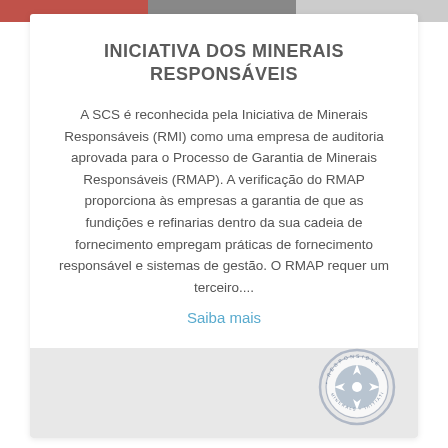INICIATIVA DOS MINERAIS RESPONSÁVEIS
A SCS é reconhecida pela Iniciativa de Minerais Responsáveis (RMI) como uma empresa de auditoria aprovada para o Processo de Garantia de Minerais Responsáveis (RMAP). A verificação do RMAP proporciona às empresas a garantia de que as fundições e refinarias dentro da sua cadeia de fornecimento empregam práticas de fornecimento responsável e sistemas de gestão. O RMAP requer um terceiro....
Saiba mais
[Figure (logo): Responsible Minerals Initiative circular logo with compass rose in center]